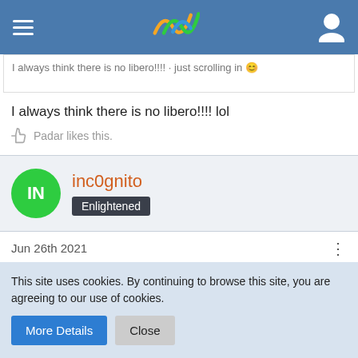Navigation bar with hamburger menu, logo, and user icon
I always think there is no libero!!!! lol
Padar likes this.
inc0gnito Enlightened
Jun 26th 2021
Quote from Leonardo.D
This site uses cookies. By continuing to browse this site, you are agreeing to our use of cookies.